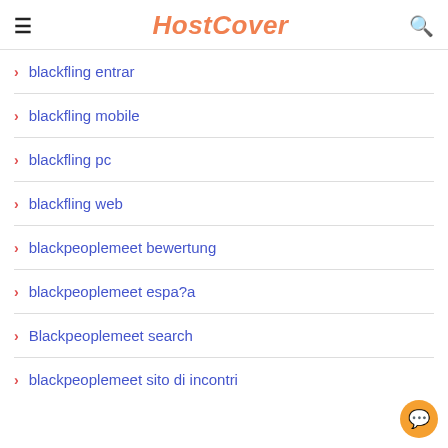HostCover
blackfling entrar
blackfling mobile
blackfling pc
blackfling web
blackpeoplemeet bewertung
blackpeoplemeet espa?a
Blackpeoplemeet search
blackpeoplemeet sito di incontri